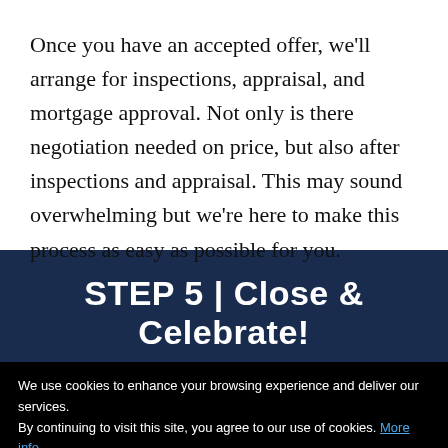Once you have an accepted offer, we'll arrange for inspections, appraisal, and mortgage approval. Not only is there negotiation needed on price, but also after inspections and appraisal. This may sound overwhelming but we're here to make this process as easy as possible for you.
STEP 5 | Close & Celebrate!
We use cookies to enhance your browsing experience and deliver our services. By continuing to visit this site, you agree to our use of cookies. More info
OK